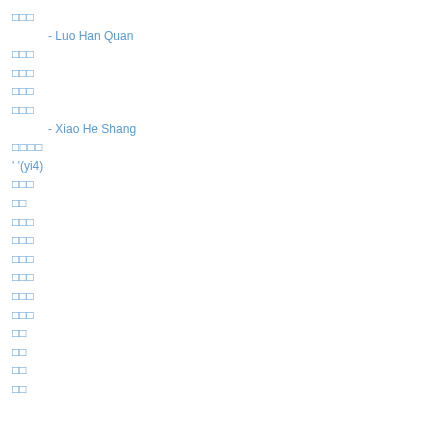□□□
- Luo Han Quan
□□□
□□□
□□□
□□□
- Xiao He Shang
□□□□
' '(yi4)
□□□
□□
□□□
□□□
□□□
□□□
□□□
□□□
□□
□□
□□
□□